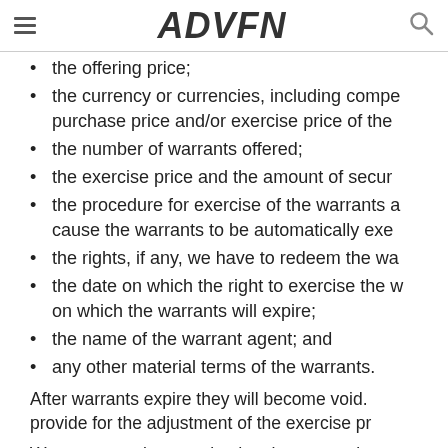ADVFN
the offering price;
the currency or currencies, including compe purchase price and/or exercise price of the
the number of warrants offered;
the exercise price and the amount of secur
the procedure for exercise of the warrants and cause the warrants to be automatically exe
the rights, if any, we have to redeem the wa
the date on which the right to exercise the warrant commences and on which the warrants will expire;
the name of the warrant agent; and
any other material terms of the warrants.
After warrants expire they will become void. provide for the adjustment of the exercise pr
Warrants may be exercised at the appropriate other office indicated in an accompanying pr exercise of warrants, holders will not have a securities purchasable upon exercise and wi